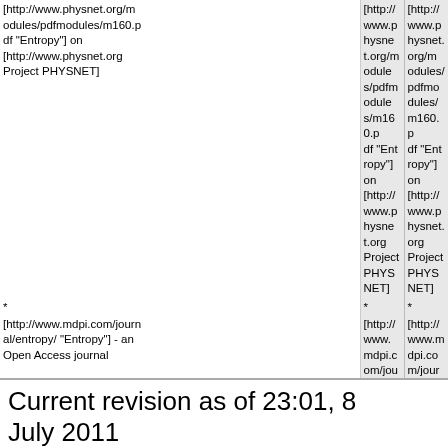| (old) | (new) |
| --- | --- |
| [http://www.physnet.org/modules/pdfmodules/m160.pdf "Entropy"] on [http://www.physnet.org Project PHYSNET] | [http://www.physnet.org/modules/pdfmodules/m160.pdf "Entropy"] on [http://www.physnet.org Project PHYSNET] |
| * | * |
| [http://www.mdpi.com/journal/entropy/ "Entropy"] - an Open Access journal | [http://www.mdpi.com/journal/entropy/ "Entropy"] - an Open Access journal |
|  | +
+
This entry is from Wikipedia, the leading user-contributed encyclopedia. It may not have been reviewed by professional editors (see [http://en.wikipedia.org/wiki/Wikipedia:General_disclaimer full disclaimer]). |
Current revision as of 23:01, 8 July 2011